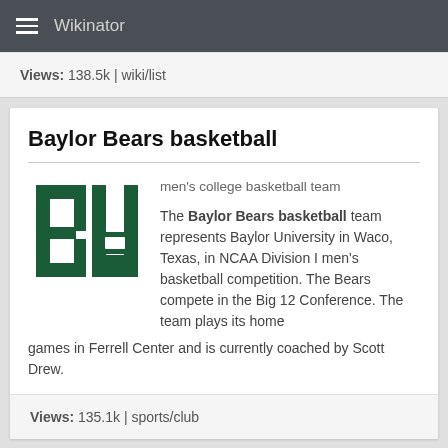Wikinator
Views: 138.5k | wiki/list
Baylor Bears basketball
[Figure (logo): Baylor University BU logo in dark green]
men's college basketball team

The Baylor Bears basketball team represents Baylor University in Waco, Texas, in NCAA Division I men's basketball competition. The Bears compete in the Big 12 Conference. The team plays its home games in Ferrell Center and is currently coached by Scott Drew.
Views: 135.1k | sports/club